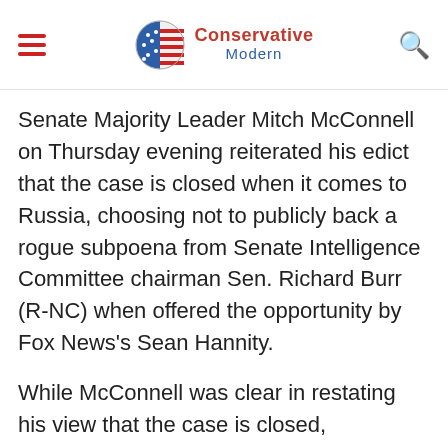Conservative Modern
Senate Majority Leader Mitch McConnell on Thursday evening reiterated his edict that the case is closed when it comes to Russia, choosing not to publicly back a rogue subpoena from Senate Intelligence Committee chairman Sen. Richard Burr (R-NC) when offered the opportunity by Fox News's Sean Hannity.
While McConnell was clear in restating his view that the case is closed, contradicting Burr's rogue subpoena